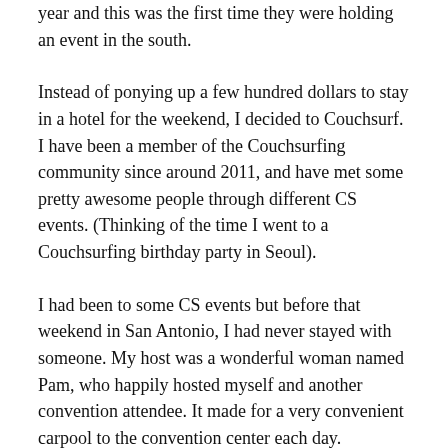year and this was the first time they were holding an event in the south.
Instead of ponying up a few hundred dollars to stay in a hotel for the weekend, I decided to Couchsurf. I have been a member of the Couchsurfing community since around 2011, and have met some pretty awesome people through different CS events. (Thinking of the time I went to a Couchsurfing birthday party in Seoul).
I had been to some CS events but before that weekend in San Antonio, I had never stayed with someone. My host was a wonderful woman named Pam, who happily hosted myself and another convention attendee. It made for a very convenient carpool to the convention center each day.
At the event, I met a lot of fun gamers while waiting in line to test out the latest games. I also attended several